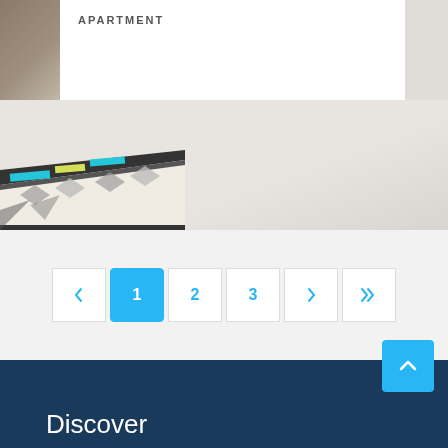[Figure (photo): Interior apartment photo showing a light wooden floor with a patterned geometric rug in the lower left, a wooden chair partially visible on the left, and a white card overlay at the top with the text APARTMENT]
APARTMENT
[Figure (other): Pagination control with previous arrow, page 1 (active/selected in blue), page 2, page 3, next arrow, and last page double arrow]
Discover
[Figure (other): Scroll-to-top button (blue square with upward chevron arrow)]